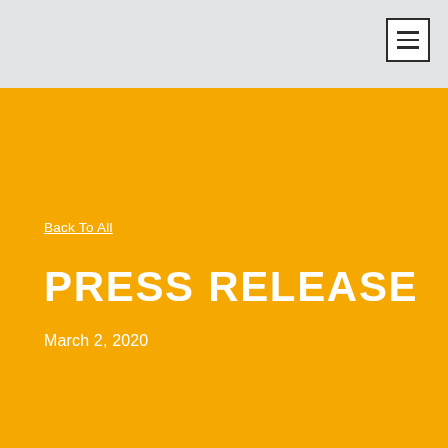Back To All
PRESS RELEASE
March 2, 2020